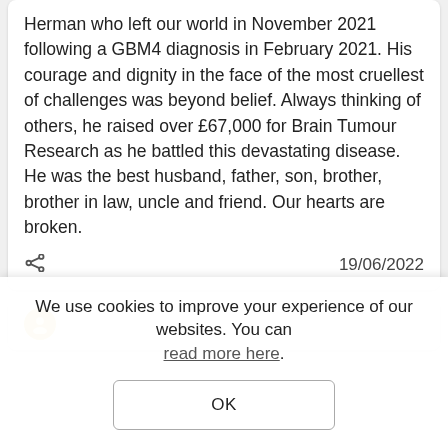Herman who left our world in November 2021 following a GBM4 diagnosis in February 2021. His courage and dignity in the face of the most cruellest of challenges was beyond belief. Always thinking of others, he raised over £67,000 for Brain Tumour Research as he battled this devastating disease. He was the best husband, father, son, brother, brother in law, uncle and friend. Our hearts are broken.
19/06/2022
We use cookies to improve your experience of our websites. You can read more here.
OK